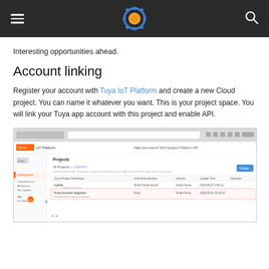[Hamburger menu] [Logo: gear icon with orange center] [Search icon]
Interesting opportunities ahead.
Account linking
Register your account with Tuya IoT Platform and create a new Cloud project. You can name it whatever you want. This is your project space. You will link your Tuya app account with this project and enable API.
[Figure (screenshot): Screenshot of Tuya IoT Platform web interface showing a Projects page with a sidebar navigation, project listing table including entries like 'tuyalink' and another project, with a highlighted row and a Create button in the top right.]